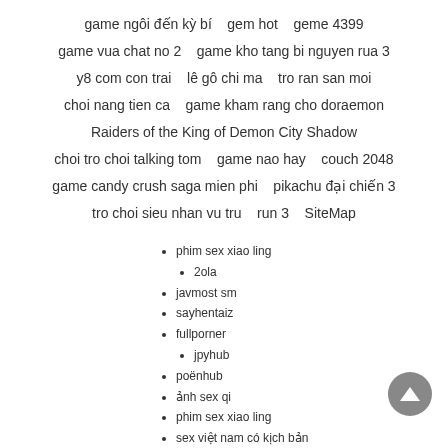game ngôi đến kỳ bí    gem hot    geme 4399
game vua chat no 2    game kho tang bi nguyen rua 3
y8 com con trai    lê gô chi ma    tro ran san moi
choi nang tien ca    game kham rang cho doraemon
Raiders of the King of Demon City Shadow
choi tro choi talking tom    game nao hay    couch 2048
game candy crush saga mien phi    pikachu đại chiến 3
tro choi sieu nhan vu tru    run 3    SiteMap
phim sex xiao ling
2ola
javmost sm
sayhentaiz
fullporner
jpyhub
poënhub
ảnh sex qi
phim sex xiao ling
sex việt nam có kịch bản
All Rights Reserved